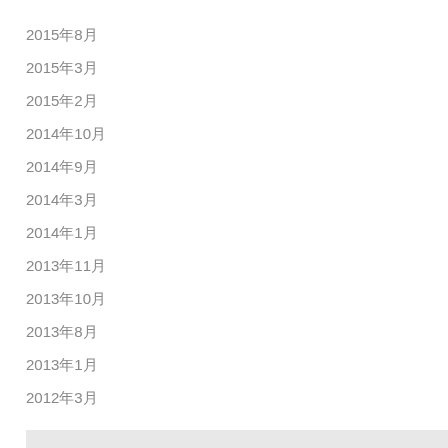2015年8月
2015年3月
2015年2月
2014年10月
2014年9月
2014年3月
2014年1月
2013年11月
2013年10月
2013年8月
2013年1月
2012年3月